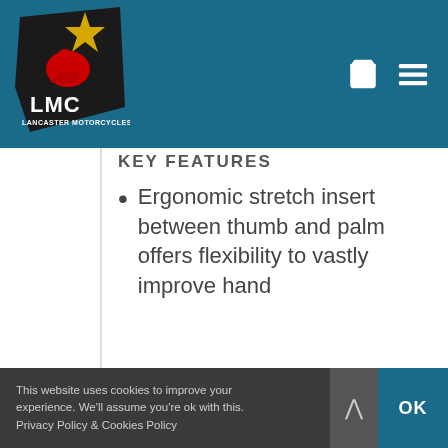[Figure (logo): Lancaster Motorcycles (LMC) logo — black angular shape with red motorcycle graphic, gold star, and white LMC text on dark teal header background]
KEY FEATURES
Ergonomic stretch insert between thumb and palm offers flexibility to vastly improve hand
This website uses cookies to improve your experience. We'll assume you're ok with this. Privacy Policy & Cookies Policy